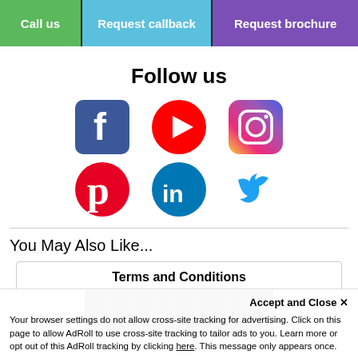Call us | Request callback | Request brochure
Follow us
[Figure (illustration): Social media icons row 1: Facebook, YouTube, Instagram]
[Figure (illustration): Social media icons row 2: Pinterest, LinkedIn, Twitter]
You May Also Like...
Terms and Conditions
[Figure (photo): Dark forest trees photo thumbnail]
Accept and Close ✕
Your browser settings do not allow cross-site tracking for advertising. Click on this page to allow AdRoll to use cross-site tracking to tailor ads to you. Learn more or opt out of this AdRoll tracking by clicking here. This message only appears once.